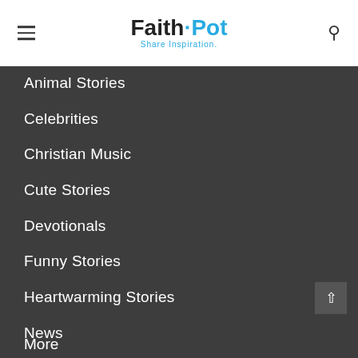FaithPot - Share Inspiration.
Animal Stories
Celebrities
Christian Music
Cute Stories
Devotionals
Funny Stories
Heartwarming Stories
News
Positive Stories
Submitted Posts
More